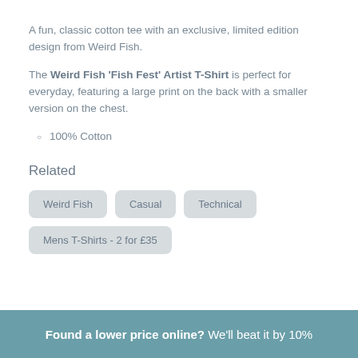A fun, classic cotton tee with an exclusive, limited edition design from Weird Fish.
The Weird Fish 'Fish Fest' Artist T-Shirt is perfect for everyday, featuring a large print on the back with a smaller version on the chest.
100% Cotton
Related
Weird Fish | Casual | Technical
Mens T-Shirts - 2 for £35
Found a lower price online? We'll beat it by 10%